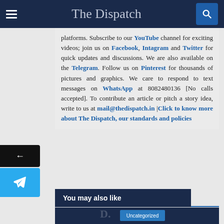The Dispatch
platforms. Subscribe to our YouTube channel for exciting videos; join us on Facebook, Intagram and Twitter for quick updates and discussions. We are also available on the Telegram. Follow us on Pinterest for thousands of pictures and graphics. We care to respond to text messages on WhatsApp at 8082480136 [No calls accepted]. To contribute an article or pitch a story idea, write to us at mail@thedispatch.in |Click to know more about The Dispatch, our standards and policies
You may also like
[Figure (screenshot): Article card preview with 'Uncategorized' label and title 'Why You Should Pay Someone to Write Your Essay' over a dark The Dispatch branded background]